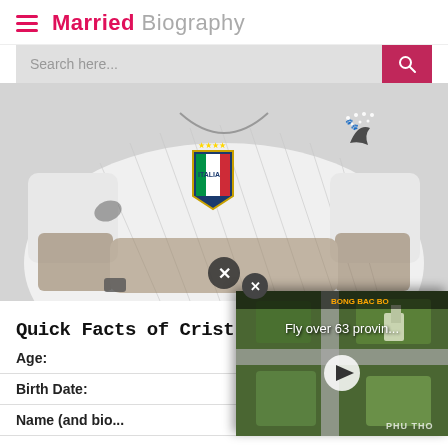Married Biography
[Figure (photo): A man wearing a white Italy national football team Puma jersey with the Italian flag crest and four stars, arms crossed, with visible tattoos on forearms]
So...
Quick Facts of Crist...
| Field | Value |
| --- | --- |
| Age: |  |
| Birth Date: |  |
| Name (and bio... |  |
[Figure (screenshot): Video overlay showing aerial drone footage of a city in Vietnam labeled PHU THO, with caption 'Fly over 63 provin...' and a play button, plus a BONG BAC BO tag in the top right]